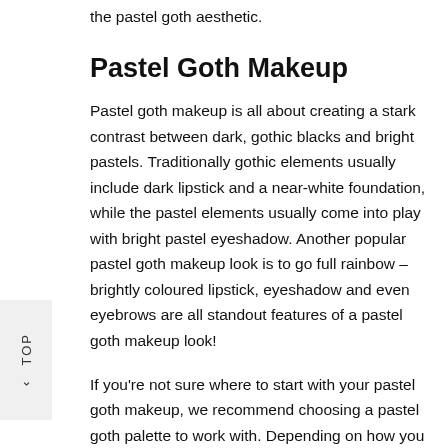the pastel goth aesthetic.
Pastel Goth Makeup
Pastel goth makeup is all about creating a stark contrast between dark, gothic blacks and bright pastels. Traditionally gothic elements usually include dark lipstick and a near-white foundation, while the pastel elements usually come into play with bright pastel eyeshadow. Another popular pastel goth makeup look is to go full rainbow – brightly coloured lipstick, eyeshadow and even eyebrows are all standout features of a pastel goth makeup look!
If you're not sure where to start with your pastel goth makeup, we recommend choosing a pastel goth palette to work with. Depending on how you want to style your hair and outfit, you'll want to pick either contrasting or complementary pastel colours
⌃ TOP